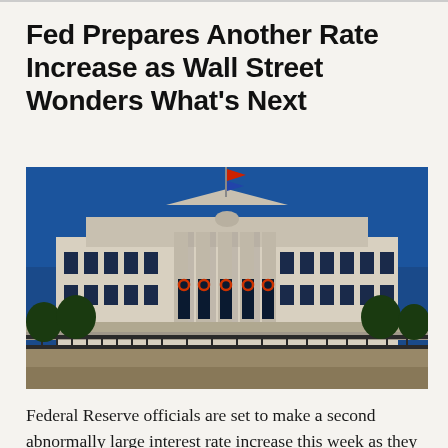Fed Prepares Another Rate Increase as Wall Street Wonders What's Next
[Figure (photo): Exterior photograph of the Federal Reserve building in Washington D.C. The neoclassical stone building features tall columns at its entrance, American flags on the roof, and holiday wreaths on the windows. Blue sky in the background.]
Federal Reserve officials are set to make a second abnormally large interest rate increase this week as they race to cool down an overheating economy. The question for many economists and investors is just